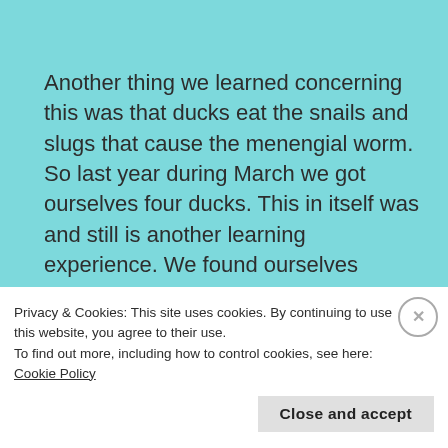Another thing we learned concerning this was that ducks eat the snails and slugs that cause the menengial worm. So last year during March we got ourselves four ducks. This in itself was and still is another learning experience. We found ourselves learning how to incubate eggs, and the difference between types of eggs. And
Privacy & Cookies: This site uses cookies. By continuing to use this website, you agree to their use.
To find out more, including how to control cookies, see here: Cookie Policy
Close and accept